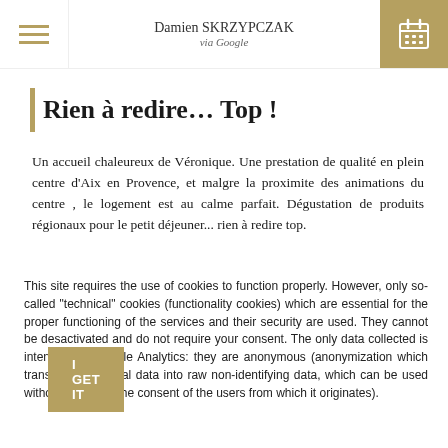Damien SKRZYPCZAK
via Google
Rien à redire… Top !
Un accueil chaleureux de Véronique. Une prestation de qualité en plein centre d'Aix en Provence, et malgre la proximite des animations du centre , le logement est au calme parfait. Dégustation de produits régionaux pour le petit déjeuner... rien à redire top.
This site requires the use of cookies to function properly. However, only so-called "technical" cookies (functionality cookies) which are essential for the proper functioning of the services and their security are used. They cannot be desactivated and do not require your consent. The only data collected is intended for Google Analytics: they are anonymous (anonymization which transforms personal data into raw non-identifying data, which can be used without obtaining the consent of the users from which it originates).
I GET IT